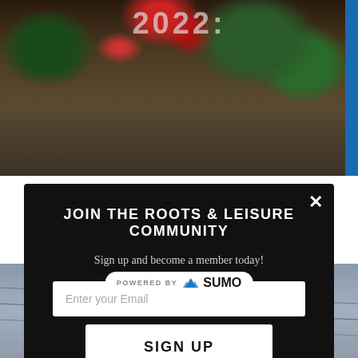[Figure (photo): Background image of a street scene with flowers, foliage, and '2022:' text at top, partially obscured by modal]
JOIN THE ROOTS & LEISURE COMMUNITY
Sign up and become a member today!
[Figure (screenshot): Email input field with placeholder text 'Enter your Email']
SIGN UP
POWERED BY SUMO